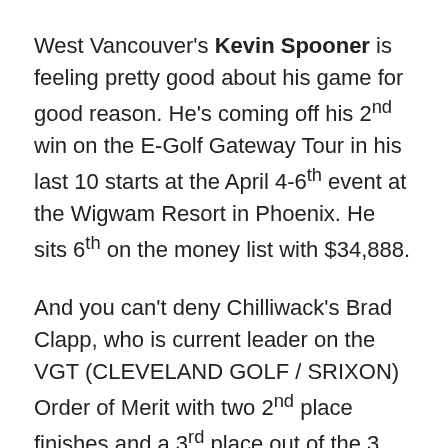West Vancouver's Kevin Spooner is feeling pretty good about his game for good reason. He's coming off his 2nd win on the E-Golf Gateway Tour in his last 10 starts at the April 4-6th event at the Wigwam Resort in Phoenix. He sits 6th on the money list with $34,888.
And you can't deny Chilliwack's Brad Clapp, who is current leader on the VGT (CLEVELAND GOLF / SRIXON) Order of Merit with two 2nd place finishes and a 3rd place out of the 3 events. Clapp used last year's VGT Spring Tour schedule to launch his confidence and nearly win PGA TOUR Canada's opening event, the PC FINANCIAL OPEN. He would end up sharing 2nd